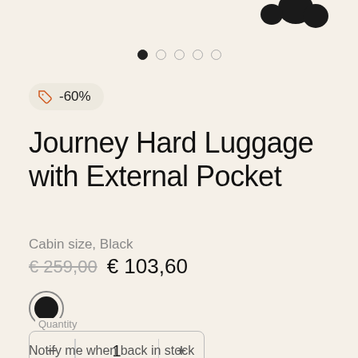[Figure (photo): Partial product image showing black luggage wheel/corner at top of page]
[Figure (other): Carousel pagination dots: 5 dots, first filled black, rest empty circles]
-60%
Journey Hard Luggage with External Pocket
Cabin size, Black
€ 259,00  € 103,60
[Figure (other): Black color swatch circle with grey ring border]
Quantity
1
Notify me when back in stock